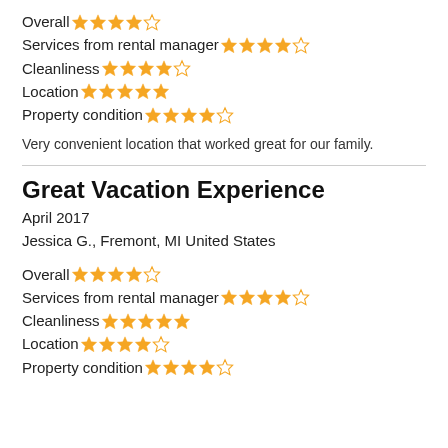Overall ★★★★☆
Services from rental manager ★★★★☆
Cleanliness ★★★★☆
Location ★★★★★
Property condition ★★★★☆
Very convenient location that worked great for our family.
Great Vacation Experience
April 2017
Jessica G., Fremont, MI United States
Overall ★★★★☆
Services from rental manager ★★★★☆
Cleanliness ★★★★★
Location ★★★★☆
Property condition ★★★★☆